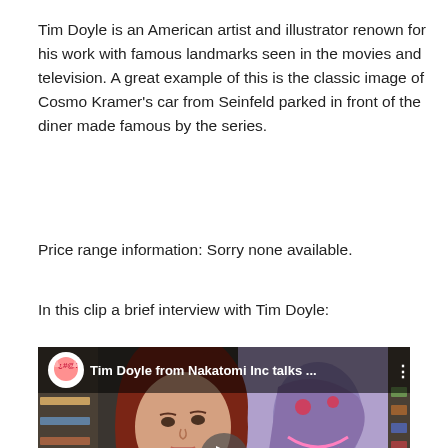Tim Doyle is an American artist and illustrator renown for his work with famous landmarks seen in the movies and television. A great example of this is the classic image of Cosmo Kramer's car from Seinfeld parked in front of the diner made famous by the series.
Price range information: Sorry none available.
In this clip a brief interview with Tim Doyle:
[Figure (screenshot): YouTube video thumbnail showing a woman with long red hair in a store setting, with comic book artwork visible on the right side. The video title reads 'Tim Doyle from Nakatomi Inc talks ...' with a channel icon (cat logo) on the left of the top bar. A play button triangle is centered on the video.]